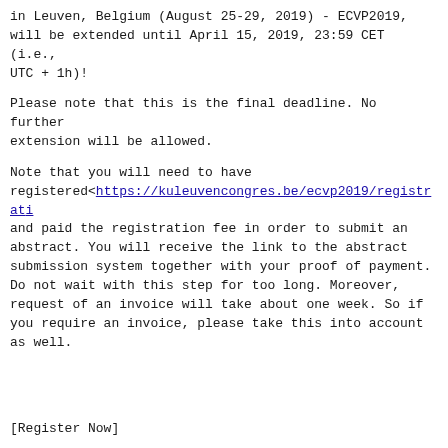in Leuven, Belgium (August 25-29, 2019) - ECVP2019, will be extended until April 15, 2019, 23:59 CET (i.e., UTC + 1h)!
Please note that this is the final deadline. No further extension will be allowed.
Note that you will need to have registered<https://kuleuvencongres.be/ecvp2019/registrat> and paid the registration fee in order to submit an abstract. You will receive the link to the abstract submission system together with your proof of payment. Do not wait with this step for too long. Moreover, request of an invoice will take about one week. So if you require an invoice, please take this into account as well.
[Register Now]